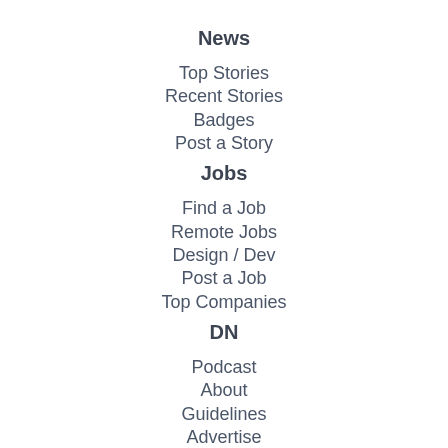News
Top Stories
Recent Stories
Badges
Post a Story
Jobs
Find a Job
Remote Jobs
Design / Dev
Post a Job
Top Companies
DN
Podcast
About
Guidelines
Advertise